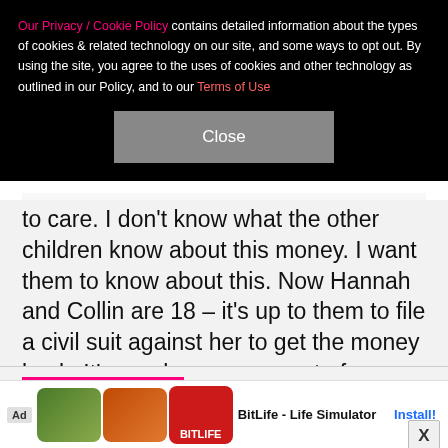Our Privacy / Cookie Policy contains detailed information about the types of cookies & related technology on our site, and some ways to opt out. By using the site, you agree to the uses of cookies and other technology as outlined in our Policy, and to our Terms of Use
Close
to care. I don't know what the other children know about this money. I want them to know about this. Now Hannah and Collin are 18 – it's up to them to file a civil suit against her to get the money back. It's an obscene amount of money and it's their money."
SPOTLIGHT
[Figure (photo): Partial thumbnail photo of a person with dark hair, cropped at bottom of page]
Ad — BitLife - Life Simulator — Install!